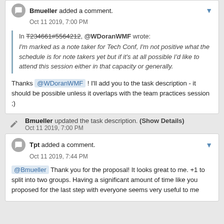Bmueller added a comment. Oct 11 2019, 7:00 PM
In T234661#5564212, @WDoranWMF wrote: I'm marked as a note taker for Tech Conf, I'm not positive what the schedule is for note takers yet but if it's at all possible I'd like to attend this session either in that capacity or generally.
Thanks @WDoranWMF ! I'll add you to the task description - it should be possible unless it overlaps with the team practices session ;)
Bmueller updated the task description. (Show Details) Oct 11 2019, 7:00 PM
Tpt added a comment. Oct 11 2019, 7:44 PM
@Bmueller Thank you for the proposal! It looks great to me. +1 to split into two groups. Having a significant amount of time like you proposed for the last step with everyone seems very useful to me